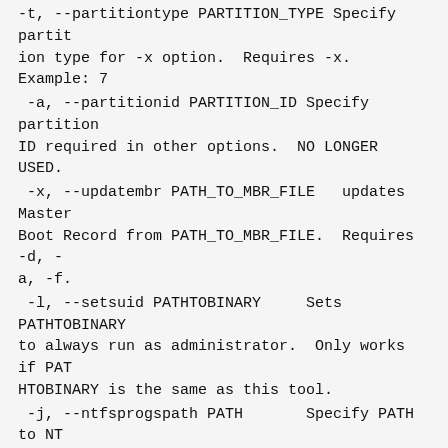-t, --partitiontype PARTITION_TYPE Specify partition type for -x option.  Requires -x. Example: 7
-a, --partitionid PARTITION_ID Specify partition ID required in other options.  NO LONGER USED.
-x, --updatembr PATH_TO_MBR_FILE   updates Master Boot Record from PATH_TO_MBR_FILE.  Requires -d, -a, -f.
-l, --setsuid PATHTOBINARY    Sets PATHTOBINARY to always run as administrator.  Only works if PATHTOBINARY is the same as this tool.
-j, --ntfsprogspath PATH      Specify PATH to NTFSProgs folder e.g. /Applications/Winclone.app/Contents/Resources.
-k, --diskimagedevice RESTORE_DEVICE   When restoring, restore to RESTORE_DEVICE (eg /dev/disk0s4) instead of an image.  Requires -r option.
-n, --licensekey PREFERENCE_PATH   Path to Winclone preference that contains a license key.  Required for creating images.
-y, --self-extract        Self-extract mode.  Automatically sets the restore (-r) and associated f